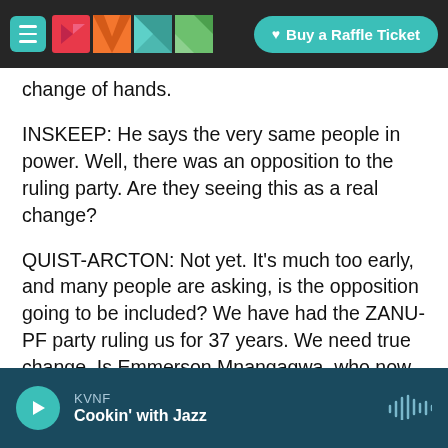KVNF | Buy a Raffle Ticket
change of hands.
INSKEEP: He says the very same people in power. Well, there was an opposition to the ruling party. Are they seeing this as a real change?
QUIST-ARCTON: Not yet. It's much too early, and many people are asking, is the opposition going to be included? We have had the ZANU-PF party ruling us for 37 years. We need true change. Is Emmerson Mnangagwa, who now finishes former President Mugabe's term of office until elections scheduled next year by late September 2018 - are
KVNF
Cookin' with Jazz